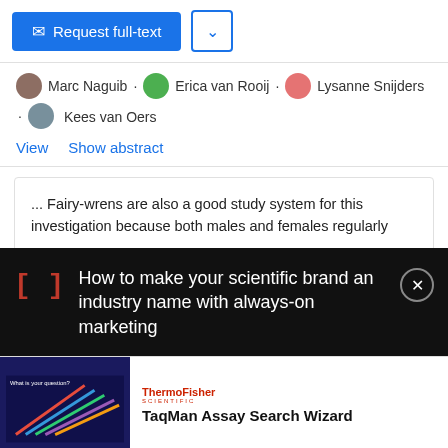Request full-text
Marc Naguib · Erica van Rooij · Lysanne Snijders · Kees van Oers
View   Show abstract
... Fairy-wrens are also a good study system for this investigation because both males and females regularly ...
[Figure (screenshot): Advertisement overlay on dark background with red bracket icon [] and text: How to make your scientific brand an industry name with always-on marketing. Close button (X) in top right.]
[Figure (screenshot): ThermoFisher Scientific advertisement showing TaqMan Assay Search Wizard with dark blue background and colorful lines graphic.]
TaqMan Assay Search Wizard